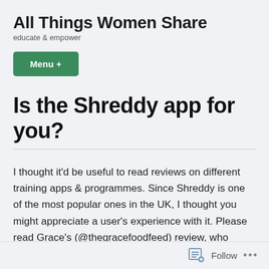All Things Women Share
educate & empower
Menu +
Is the Shreddy app for you?
I thought it'd be useful to read reviews on different training apps & programmes. Since Shreddy is one of the most popular ones in the UK, I thought you might appreciate a user's experience with it. Please read Grace's (@thegracefoodfeed) review, who recently completed a twelve week programme. #yourstory
Follow ...